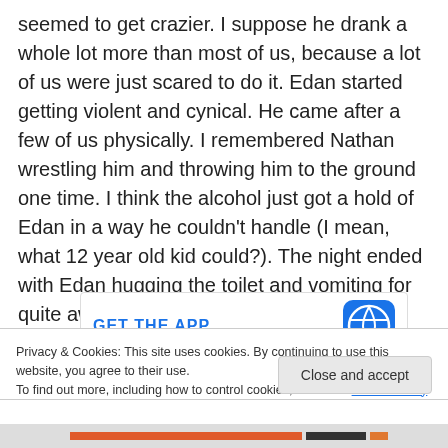seemed to get crazier. I suppose he drank a whole lot more than most of us, because a lot of us were just scared to do it. Edan started getting violent and cynical. He came after a few of us physically. I remembered Nathan wrestling him and throwing him to the ground one time. I think the alcohol just got a hold of Edan in a way he couldn't handle (I mean, what 12 year old kid could?). The night ended with Edan hugging the toilet and vomiting for quite awhile.
[Figure (other): GET THE APP banner with WordPress logo]
Privacy & Cookies: This site uses cookies. By continuing to use this website, you agree to their use. To find out more, including how to control cookies, see here: Cookie Policy
Close and accept